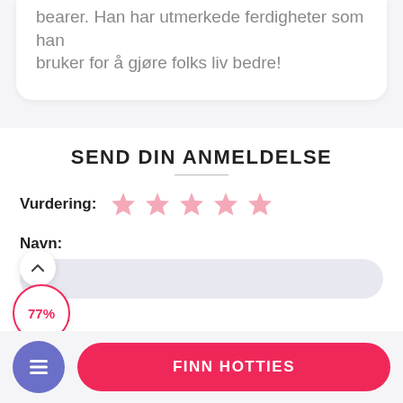bruker for å gjøre folks liv bedre!
SEND DIN ANMELDELSE
Vurdering: ★★★★★
Navn:
77%
E-mail:
FINN HOTTIES